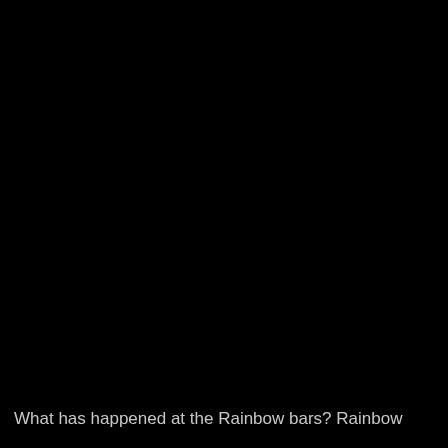[Figure (photo): Mostly black image, nearly entirely dark with no visible subject details.]
What has happened at the Rainbow bars? Rainbow